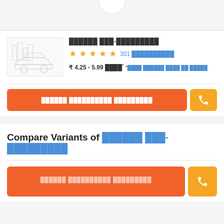[Figure (screenshot): Top partial circle/tab element at top of page]
██████ ███-█████████ — 4.5 stars, 301 ██████████ — ₹ 4.25 - 5.99 ████* *████ ██████ ████ ██ █████
██████ ██████████ █████████ (orange button with phone icon)
Compare Variants of ██████ ███-█████████
██████ ██████████ █████████ (second orange button with phone icon)